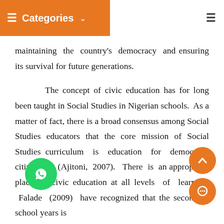Categories
maintaining the country's democracy and ensuring its survival for future generations.

The concept of civic education has for long been taught in Social Studies in Nigerian schools. As a matter of fact, there is a broad consensus among Social Studies educators that the core mission of Social Studies curriculum is education for democratic citizenship (Ajitoni, 2007). There is an appropriate place for civic education at all levels of learning. Falade (2009) have recognized that the secondary school years is